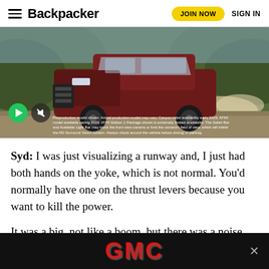Backpacker | JOIN NOW | SIGN IN
[Figure (photo): A dark red GMC Canyon AT4X truck driving on a dirt road with green hills in background. Video player overlay with play button and mute button visible. Disclaimer text at bottom of video.]
Syd: I was just visualizing a runway and, I just had both hands on the yoke, which is not normal. You'd normally have one on the thrust levers because you want to kill the power.
It was a big, not like a boom, but there was a noise that I distinctly remember. And then you just see the water splash up onto the windshield, but it was pretty hard because you just stop all
[Figure (logo): GMC logo advertisement bar in black background with red GMC text and a close X button]